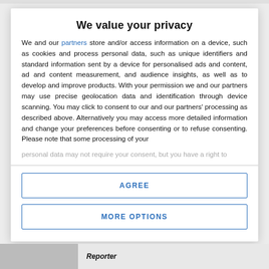We value your privacy
We and our partners store and/or access information on a device, such as cookies and process personal data, such as unique identifiers and standard information sent by a device for personalised ads and content, ad and content measurement, and audience insights, as well as to develop and improve products. With your permission we and our partners may use precise geolocation data and identification through device scanning. You may click to consent to our and our partners' processing as described above. Alternatively you may access more detailed information and change your preferences before consenting or to refuse consenting. Please note that some processing of your personal data may not require your consent, but you have a right to
AGREE
MORE OPTIONS
Reporter